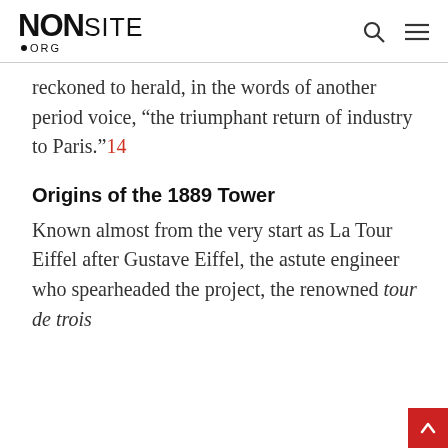NONSITE.ORG
reckoned to herald, in the words of another period voice, “the triumphant return of industry to Paris.”14
Origins of the 1889 Tower
Known almost from the very start as La Tour Eiffel after Gustave Eiffel, the astute engineer who spearheaded the project, the renowned tour de trois